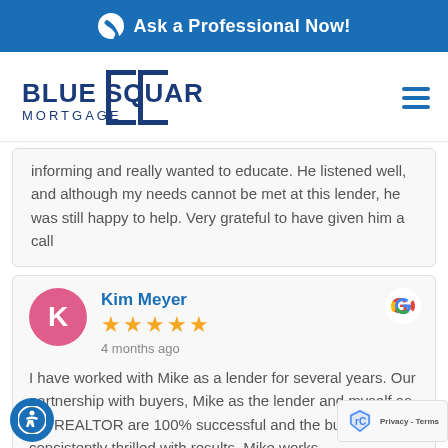Ask a Professional Now!
[Figure (logo): Blue Square Mortgage logo with blue square bracket frame and bold text]
informing and really wanted to educate. He listened well, and although my needs cannot be met at this lender, he was still happy to help. Very grateful to have given him a call
Kim Meyer
★★★★★ 4 months ago
I have worked with Mike as a lender for several years. Our partnership with buyers, Mike as the lender and myself as the REALTOR are 100% successful and the buyers are consistently thrilled with results. Mike works